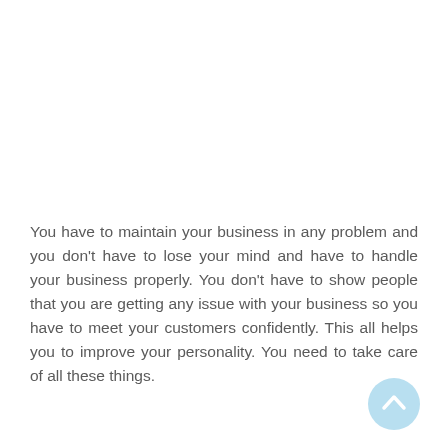You have to maintain your business in any problem and you don't have to lose your mind and have to handle your business properly. You don't have to show people that you are getting any issue with your business so you have to meet your customers confidently. This all helps you to improve your personality. You need to take care of all these things.
[Figure (other): Light blue circular scroll-to-top button with a white upward-pointing chevron arrow icon]